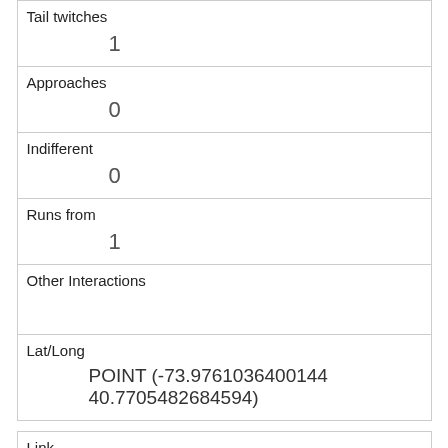| Tail twitches | 1 |
| Approaches | 0 |
| Indifferent | 0 |
| Runs from | 1 |
| Other Interactions |  |
| Lat/Long | POINT (-73.9761036400144 40.7705482684594) |
| Link | 238 |
| rowid | 238 |
| longitude | -73.9760942252437 |
| latitude | 40.7742035674209 |